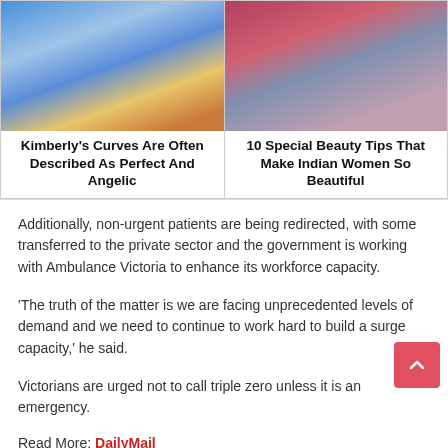[Figure (photo): Two-column layout with photos: left photo of a woman with dark hair in blue pants and colorful top; right photo of a woman in blue Indian attire with red top.]
Kimberly's Curves Are Often Described As Perfect And Angelic
10 Special Beauty Tips That Make Indian Women So Beautiful
Additionally, non-urgent patients are being redirected, with some transferred to the private sector and the government is working with Ambulance Victoria to enhance its workforce capacity.
‘The truth of the matter is we are facing unprecedented levels of demand and we need to continue to work hard to build a surge capacity,’ he said.
Victorians are urged not to call triple zero unless it is an emergency.
Read More: DailyMail